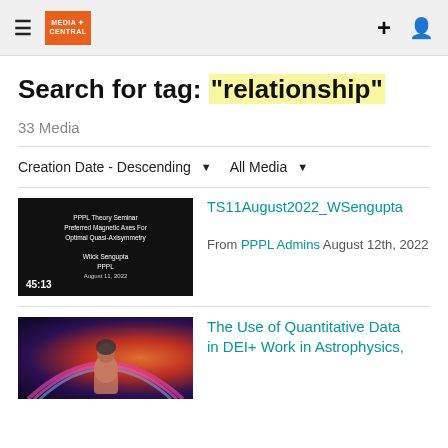Media Central
Search for tag: "relationship"
33 Media
Creation Date - Descending  All Media
[Figure (screenshot): Video thumbnail showing PPPL Theory Seminar slide with text: Preferred Magnetic Axes For Optimal Quasi-Axisymmetry, Wtick Sengupta, PPPL, August 11, 2022. Duration: 45:13]
TS11August2022_WSengupta
From PPPL Admins August 12th, 2022
[Figure (photo): Thumbnail showing a person in front of a colorful cosmic/rainbow background]
The Use of Quantitative Data in DEI+ Work in Astrophysics,